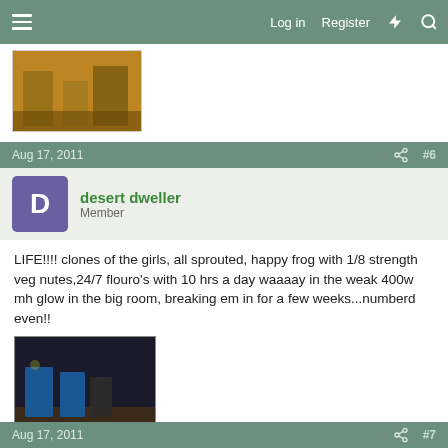Log in  Register
[Figure (photo): Partial view of a previous forum post showing a photo of plants with golden/brown foliage]
Aug 17, 2011  #6
desert dweller
Member
LIFE!!!! clones of the girls, all sprouted, happy frog with 1/8 strength veg nutes,24/7 flouro's with 10 hrs a day waaaay in the weak 400w mh glow in the big room, breaking em in for a few weeks...numberd even!!
[Figure (photo): Photo of blue containers/buckets in a growing room under dim light]
Aug 17, 2011  #7